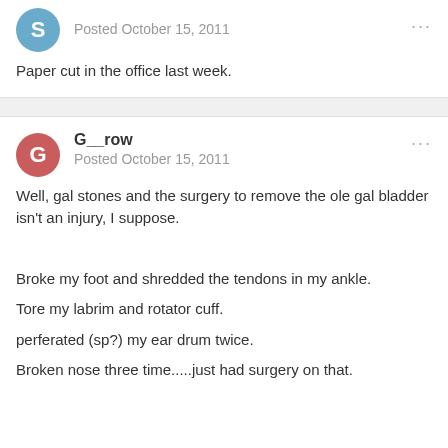Posted October 15, 2011
Paper cut in the office last week.
G__row
Posted October 15, 2011
Well, gal stones and the surgery to remove the ole gal bladder isn't an injury, I suppose.
Broke my foot and shredded the tendons in my ankle.
Tore my labrim and rotator cuff.
perferated (sp?) my ear drum twice.
Broken nose three time.....just had surgery on that.